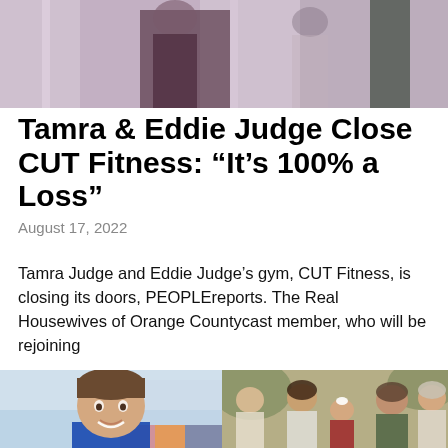[Figure (photo): Top image showing two people, one in dark clothing, partial view against a light purple/lavender background with a dark tree visible.]
Tamra & Eddie Judge Close CUT Fitness: “It’s 100% a Loss”
August 17, 2022
Tamra Judge and Eddie Judge’s gym, CUT Fitness, is closing its doors, PEOPLEreports. The Real Housewives of Orange Countycast member, who will be rejoining
[Figure (photo): Bottom left: headshot of a young man with short brown hair wearing a blue shirt, smiling, with a blurred background.]
[Figure (photo): Bottom right: family photo showing a group of people including adults and children, posed together, warm tones.]